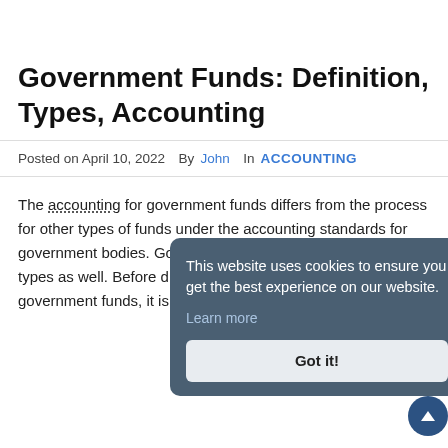Government Funds: Definition, Types, Accounting
Posted on April 10, 2022  By John  In ACCOUNTING
The accounting for government funds differs from the process for other types of funds under the accounting standards for government bodies. Government funds may include various types as well. Before discussing the types and accounting of government funds, it is crucial to discuss them.
[Figure (screenshot): Cookie consent overlay reading: 'This website uses cookies to ensure you get the best experience on our website. Learn more' with a 'Got it!' button.]